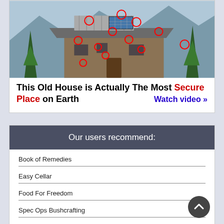[Figure (photo): Photo of a dilapidated old house/shack with red circles highlighting various security or survival features, set against a winter mountain background.]
This Old House is Actually The Most Secure Place on Earth   Watch video »
Our users recommend:
Book of Remedies
Easy Cellar
Food For Freedom
Spec Ops Bushcrafting
The Lost Ways I
The Lost Ways II